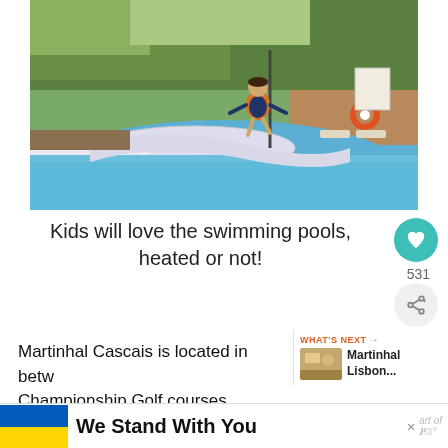[Figure (photo): A child in an orange life vest jumping into a curved outdoor swimming pool at what appears to be a resort. Lush greenery and a stone wall with a life preserver ring are visible in the background. Lounge chairs are visible near the pool.]
Kids will love the swimming pools, heated or not!
Martinhal Cascais is located in betw Championship Golf courses, Quinta da
[Figure (photo): Thumbnail image for 'What's Next' showing Martinhal Lisbon...]
[Figure (infographic): Advertisement banner: Ukraine flag icon with text 'We Stand With You']